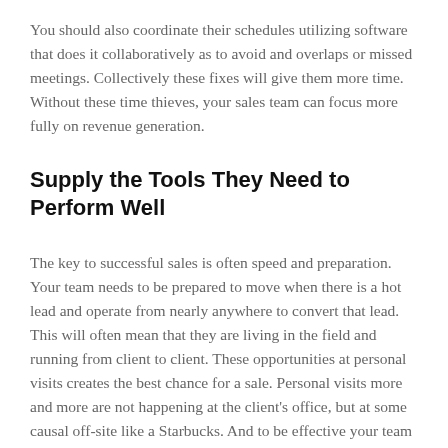You should also coordinate their schedules utilizing software that does it collaboratively as to avoid and overlaps or missed meetings. Collectively these fixes will give them more time. Without these time thieves, your sales team can focus more fully on revenue generation.
Supply the Tools They Need to Perform Well
The key to successful sales is often speed and preparation. Your team needs to be prepared to move when there is a hot lead and operate from nearly anywhere to convert that lead. This will often mean that they are living in the field and running from client to client. These opportunities at personal visits creates the best chance for a sale. Personal visits more and more are not happening at the client's office, but at some causal off-site like a Starbucks. And to be effective your team